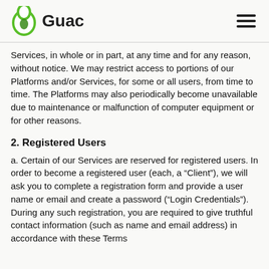Guac
Services, in whole or in part, at any time and for any reason, without notice. We may restrict access to portions of our Platforms and/or Services, for some or all users, from time to time. The Platforms may also periodically become unavailable due to maintenance or malfunction of computer equipment or for other reasons.
2. Registered Users
a. Certain of our Services are reserved for registered users. In order to become a registered user (each, a “Client”), we will ask you to complete a registration form and provide a user name or email and create a password (“Login Credentials”). During any such registration, you are required to give truthful contact information (such as name and email address) in accordance with these Terms